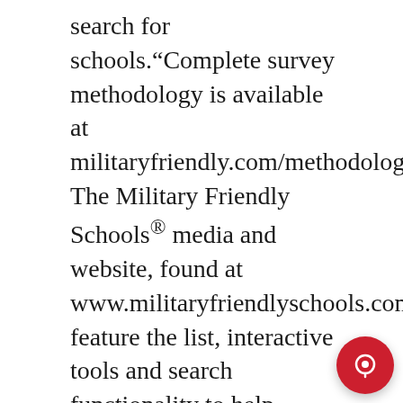search for schools.“Complete survey methodology is available at militaryfriendly.com/methodology. The Military Friendly Schools® media and website, found at www.militaryfriendlyschools.com, feature the list, interactive tools and search functionality to help military students find the best school to suit their unique needs and preferences.The 1,868 colleges, universities and trade schools on this year’s list exhibit leading programs in recruitment and retention of those with military experience.These schools have world-class programs and policies for student support on campus, academic accreditation, credit policies, flexibility and
[Figure (screenshot): GMC logo appearing inline in the text, with a popup chat widget overlay showing 'Welcome to GMC!' text and a close X button. A red circular chat button appears in the bottom right corner.]